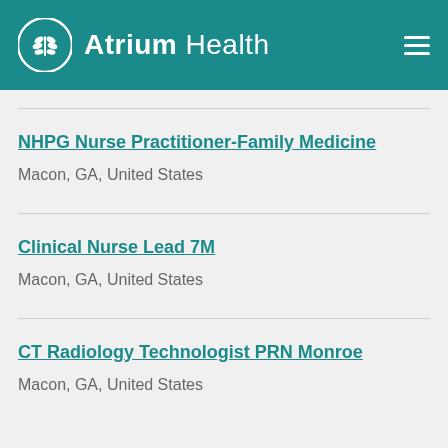Atrium Health
NHPG Nurse Practitioner-Family Medicine
Macon, GA, United States
Clinical Nurse Lead 7M
Macon, GA, United States
CT Radiology Technologist PRN Monroe
Macon, GA, United States